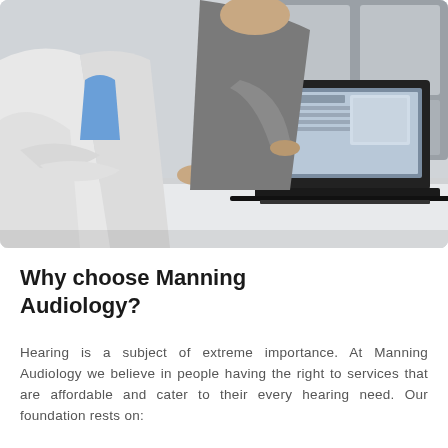[Figure (photo): A doctor in a white coat sitting beside a patient at a desk, both looking at a laptop screen. The doctor appears to be consulting with the patient, pointing at the laptop.]
Why choose Manning Audiology?
Hearing is a subject of extreme importance. At Manning Audiology we believe in people having the right to services that are affordable and cater to their every hearing need. Our foundation rests on: